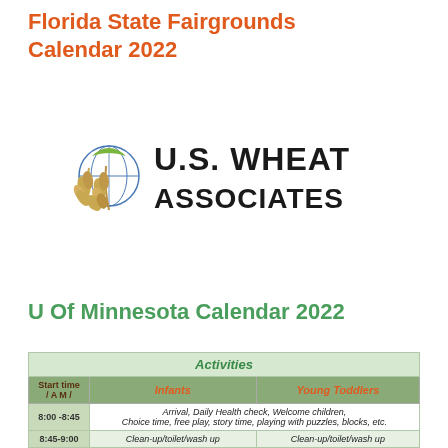Florida State Fairgrounds Calendar 2022
[Figure (logo): U.S. Wheat Associates logo with globe and wheat stalk icon]
U Of Minnesota Calendar 2022
| Start time / AM | Infants | Young Toddlers |
| --- | --- | --- |
| 8:00 -8:45 | Arrival, Daily Health check, Welcome children, Choice time, free play, story time, playing with puzzles, blocks, etc. |  |
| 8:45-9:00 | Clean-up/toilet/wash up | Clean-up/toilet/wash up |
| 9:00-9:30 | 1st nap/Bottle/morning cereal/ | Breakfast/ Clean-up/wash up |